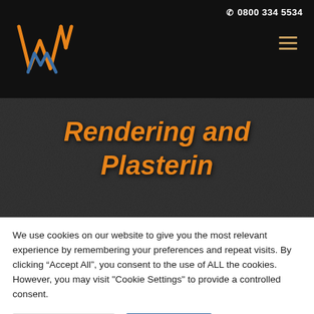0800 334 5534
[Figure (logo): Stylized W logo in orange and blue lines on black background]
Rendering and Plastering
We use cookies on our website to give you the most relevant experience by remembering your preferences and repeat visits. By clicking “Accept All”, you consent to the use of ALL the cookies. However, you may visit "Cookie Settings" to provide a controlled consent.